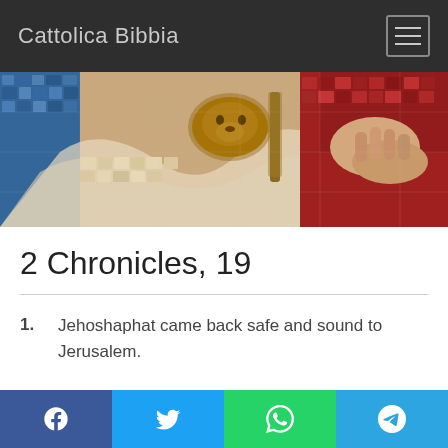Cattolica Bibbia
[Figure (photo): A colorful mosaic artwork depicting religious figures and a lion, rendered in terracotta, blue, red, gold, and cream tiled pieces.]
2 Chronicles, 19
1. Jehoshaphat came back safe and sound to Jerusalem.
Facebook | Twitter | WhatsApp | Telegram